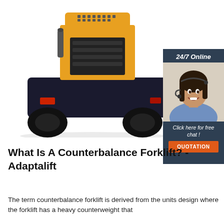[Figure (photo): Rear view of an orange and dark grey/black counterbalance forklift on white background. The forklift has yellow body, dark chassis, red taillights and black rubber tires.]
[Figure (photo): Advertisement sidebar panel with dark blue/navy background showing a female customer service agent wearing a headset, smiling. Contains text '24/7 Online', 'Click here for free chat!', and an orange button labeled 'QUOTATION'.]
What Is A Counterbalance Forklift? - Adaptalift
The term counterbalance forklift is derived from the units design where the forklift has a heavy counterweight that